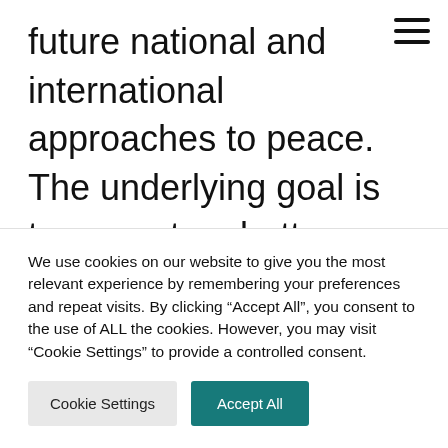[Figure (other): Hamburger menu icon (three horizontal lines) in top-right corner]
future national and international approaches to peace. The underlying goal is to promote a better understanding of key fault lines in past and current peace efforts and to map out the road ahead for more effective
We use cookies on our website to give you the most relevant experience by remembering your preferences and repeat visits. By clicking “Accept All”, you consent to the use of ALL the cookies. However, you may visit “Cookie Settings” to provide a controlled consent.